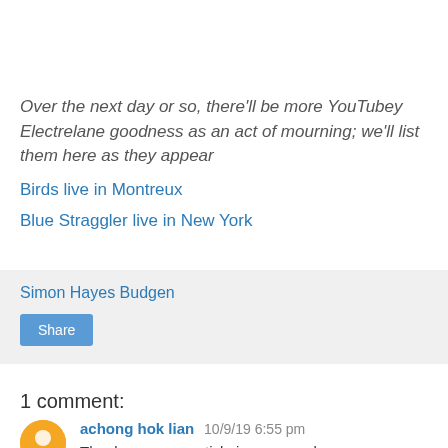Over the next day or so, there'll be more YouTubey Electrelane goodness as an act of mourning; we'll list them here as they appear
Birds live in Montreux
Blue Straggler live in New York
Simon Hayes Budgen
Share
1 comment:
achong hok lian 10/9/19 6:55 pm
Thank you, your article is very good